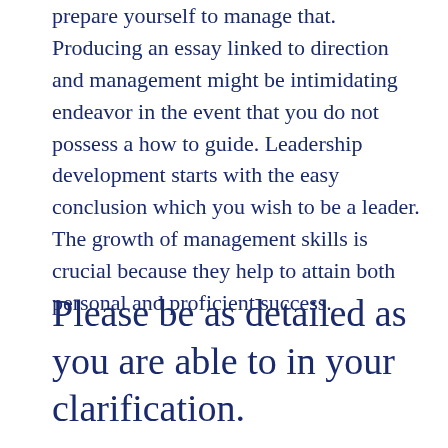prepare yourself to manage that. Producing an essay linked to direction and management might be intimidating endeavor in the event that you do not possess a how to guide. Leadership development starts with the easy conclusion which you wish to be a leader. The growth of management skills is crucial because they help to attain both personal and proficient success.
Please be as detailed as you are able to in your clarification.